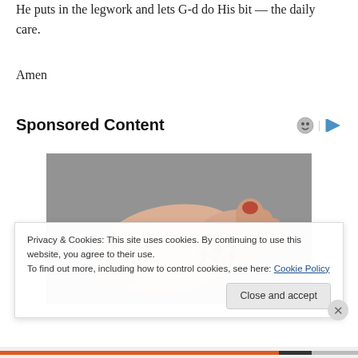He puts in the legwork and lets G-d do His bit — the daily care.
Amen
Sponsored Content
[Figure (photo): A human foot on a grey background with red lightning bolt symbols indicating pain near the toes, a red dot on the ankle, and red coloring on the toes suggesting pain/inflammation.]
Privacy & Cookies: This site uses cookies. By continuing to use this website, you agree to their use.
To find out more, including how to control cookies, see here: Cookie Policy
Close and accept